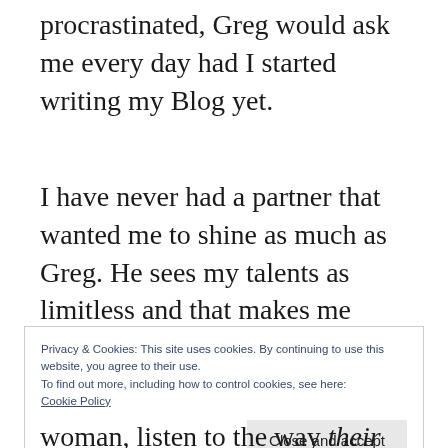procrastinated, Greg would ask me every day had I started writing my Blog yet.
I have never had a partner that wanted me to shine as much as Greg. He sees my talents as limitless and that makes me believe in myself.
Privacy & Cookies: This site uses cookies. By continuing to use this website, you agree to their use.
To find out more, including how to control cookies, see here: Cookie Policy
Close and accept
woman, listen to the way their own people